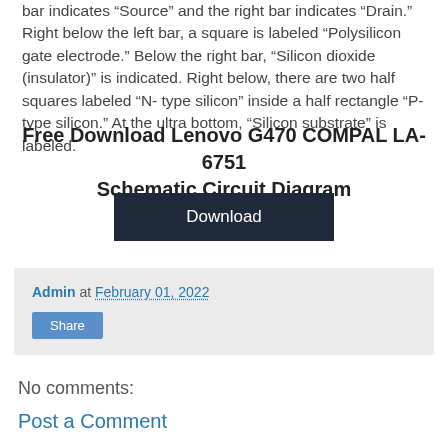bar indicates “Source” and the right bar indicates “Drain.” Right below the left bar, a square is labeled “Polysilicon gate electrode.” Below the right bar, “Silicon dioxide (insulator)” is indicated. Right below, there are two half squares labeled “N-type silicon” inside a half rectangle “P-type silicon.” At the ultra bottom, “Silicon substrate” is labeled.
Free Download Lenovo G470 COMPAL LA-6751 Schematic Circuit Diagram
[Figure (other): Download button — dark navy rectangular button with white text 'Download']
Admin at February 01, 2022
Share
No comments:
Post a Comment